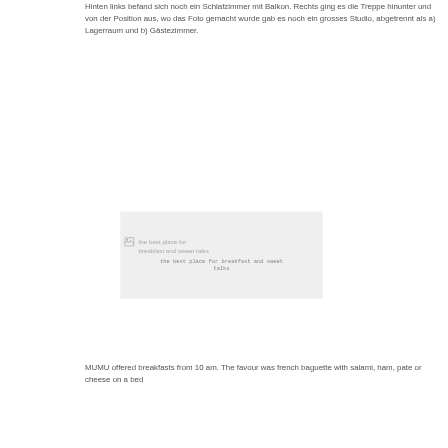Hinten links befand sich noch ein Schlafzimmer mit Balkon. Rechts ging es die Treppe hinunter und von der Position aus, wo das Foto gemacht wurde gab es noch ein grosses Studio, abgetrennt als a) Lagerraum und b) Gästezimmer.
[Figure (photo): Broken image placeholder with alt text: 'the best place for breakfast and sweet talks'. Caption below reads: 'the best place for breakfast and sweet talks'.]
MUMU offered breakfasts from 10 am. The favour was french baguette with salami, ham, pate or cheese on a bed